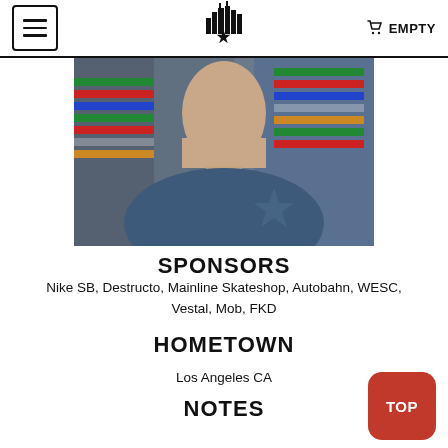EMPTY (cart)
[Figure (photo): Photo of a young man in a blue t-shirt standing in front of shelves with colorful merchandise]
SPONSORS
Nike SB, Destructo, Mainline Skateshop, Autobahn, WESC, Vestal, Mob, FKD
HOMETOWN
Los Angeles CA
NOTES